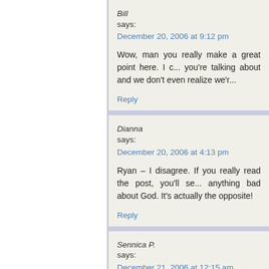Bill says: December 20, 2006 at 9:12 pm
Wow, man you really make a great point here. I c... you're talking about and we don't even realize we'r...
Reply
Dianna says: December 20, 2006 at 4:13 pm
Ryan – I disagree. If you really read the post, you'll se... anything bad about God. It's actually the opposite!
Reply
Sennica P. says: December 21, 2006 at 12:15 am
When I heard the song at the begining, I was re... you were trying to prove, but I do get your point.